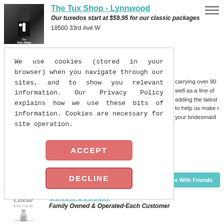[Figure (logo): The Tux Shop logo - man in tuxedo with gothic text overlay]
The Tux Shop - Lynnwood
Our tuxedos start at $59.95 for our classic packages
18500 33rd Ave W
We use cookies (stored in your browser) when you navigate through our sites, and to show you relevant information. Our Privacy Policy explains how we use these bits of information. Cookies are necessary for site operation.
ACCEPT
DECLINE
carrying over 90 well as a line of adding the latest to help us make r your bridesmaid
Share With Friends
REFER TO A FRIEND
Email Vendor
[Figure (logo): Celeste Boutique cursive logo with figure]
Celeste Boutique
Family Owned & Operated-Each Customer